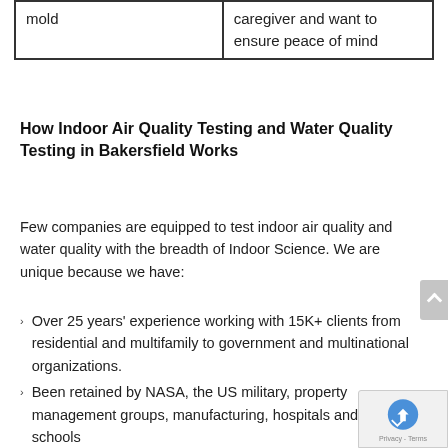| mold | caregiver and want to ensure peace of mind |
How Indoor Air Quality Testing and Water Quality Testing in Bakersfield Works
Few companies are equipped to test indoor air quality and water quality with the breadth ofIndoor Science. We are unique because we have:
Over 25 years' experience working with 15K+ clients from residential and multifamily to government and multinational organizations.
Been retained by NASA, the US military, property management groups, manufacturing, hospitals and schools
Scientific expertise, a scientific advisory board a… proprietary methodologies to understand laten…